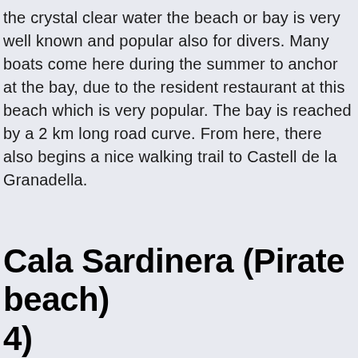the crystal clear water the beach or bay is very well known and popular also for divers. Many boats come here during the summer to anchor at the bay, due to the resident restaurant at this beach which is very popular. The bay is reached by a 2 km long road curve. From here, there also begins a nice walking trail to Castell de la Granadella.
Cala Sardinera (Pirate beach) 4)